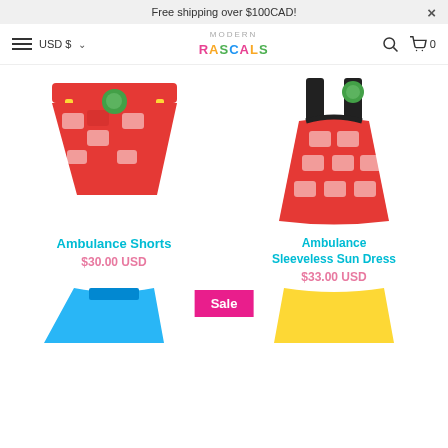Free shipping over $100CAD!
[Figure (screenshot): Navigation bar with hamburger menu, USD $ currency selector, Modern Rascals logo, search icon, and cart icon with 0 items]
[Figure (photo): Ambulance Shorts - red shorts with ambulance/fire truck pattern, yellow pocket trim, green tag]
Ambulance Shorts
$30.00 USD
[Figure (photo): Ambulance Sleeveless Sun Dress - red dress with ambulance/fire truck pattern, black trim, green tag]
Ambulance Sleeveless Sun Dress
$33.00 USD
[Figure (photo): Blue t-shirt partially visible at bottom left]
Sale
[Figure (photo): Yellow shorts partially visible at bottom right]